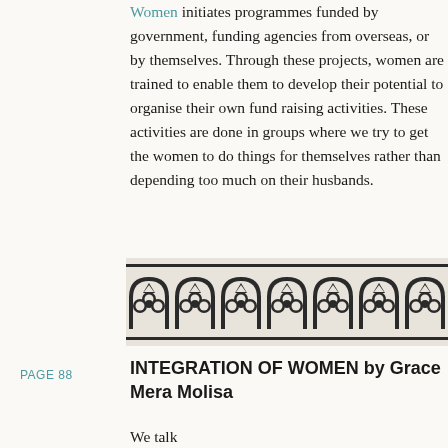and Dr. Jagger. The National Council of Women initiates programmes funded by government, funding agencies from overseas, or by themselves. Through these projects, women are trained to enable them to develop their potential to organise their own fund raising activities. These activities are done in groups where we try to get the women to do things for themselves rather than depending too much on their husbands.
[Figure (illustration): Decorative horizontal band with repeating Gothic/Celtic arch and trefoil clover motif pattern in black and white]
PAGE 88
INTEGRATION OF WOMEN by Grace Mera Molisa
We talk